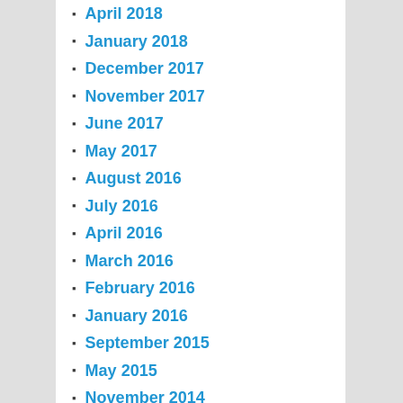April 2018
January 2018
December 2017
November 2017
June 2017
May 2017
August 2016
July 2016
April 2016
March 2016
February 2016
January 2016
September 2015
May 2015
November 2014
October 2014
September 2014
July 2014
June 2014
May 2014
April 2014
March 2014